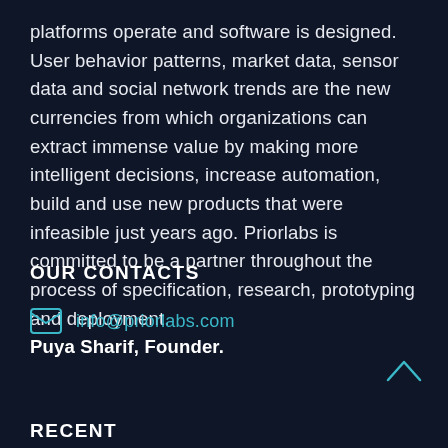platforms operate and software is designed. User behavior patterns, market data, sensor data and social network trends are the new currencies from which organizations can extract immense value by making more intelligent decisions, increase automation, build and use new products that were infeasible just years ago. Priorlabs is committed to be a partner throughout the process of specification, research, prototyping and deployment. Puya Sharif, Founder.
OUR CONTACTS
info@priorlabs.com
RECENT